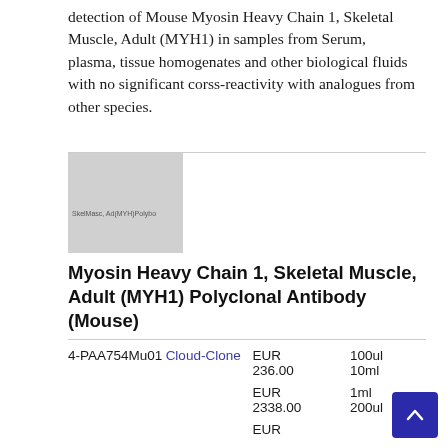detection of Mouse Myosin Heavy Chain 1, Skeletal Muscle, Adult (MYH1) in samples from Serum, plasma, tissue homogenates and other biological fluids with no significant corss-reactivity with analogues from other species.
[Figure (photo): Gray placeholder image for Myosin Heavy Chain 1, Skeletal Muscle, Adult (MYH1) Polyclonal Antibody product]
Myosin Heavy Chain 1, Skeletal Muscle, Adult (MYH1) Polyclonal Antibody (Mouse)
| ID | Vendor | Price | Size |
| --- | --- | --- | --- |
| 4-PAA754Mu01 | Cloud-Clone | EUR 236.00
EUR 2338.00
EUR | 100ul
10ml
1ml
200ul |